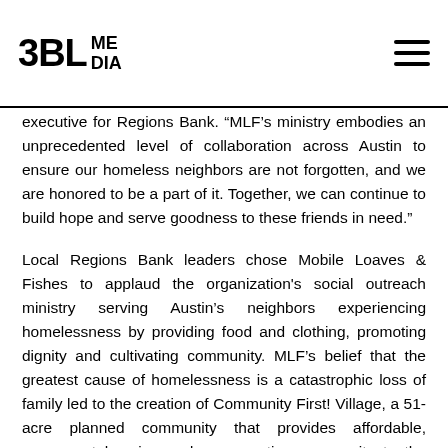3BL MEDIA
executive for Regions Bank. “MLF’s ministry embodies an unprecedented level of collaboration across Austin to ensure our homeless neighbors are not forgotten, and we are honored to be a part of it. Together, we can continue to build hope and serve goodness to these friends in need.”
Local Regions Bank leaders chose Mobile Loaves & Fishes to applaud the organization's social outreach ministry serving Austin's neighbors experiencing homelessness by providing food and clothing, promoting dignity and cultivating community. MLF’s belief that the greatest cause of homelessness is a catastrophic loss of family led to the creation of Community First! Village, a 51-acre planned community that provides affordable, permanent housing and a supportive community to the chronically homeless. The Village offers a safe environment, where residents may learn a trade and build relationships as they